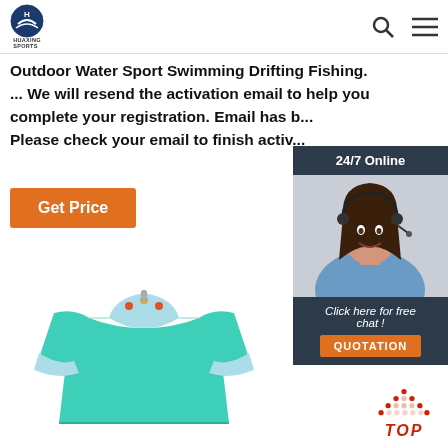HUAXING SPORTS
Outdoor Water Sport Swimming Drifting Fishing. ... We will resend the activation email to help you complete your registration. Email has b... Please check your email to finish activ...
Get Price
[Figure (photo): 24/7 Online chat popup with woman wearing headset, blue shirt, smiling. 'Click here for free chat!' with QUOTATION button.]
[Figure (photo): Teal/aqua short-sleeve rash guard swim shirt for children, displayed flat, with colorful fish print on collar and sleeves.]
[Figure (other): TOP back-to-top icon with red dotted triangle/arrow shape and red italic TOP text.]